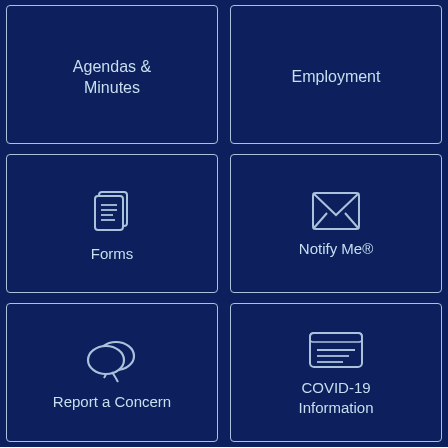[Figure (infographic): Navigation tile: Agendas & Minutes — dark navy button with light border]
[Figure (infographic): Navigation tile: Employment — dark navy button with light border]
[Figure (infographic): Navigation tile: Forms — dark navy button with forms icon and light border]
[Figure (infographic): Navigation tile: Notify Me® — dark navy button with envelope icon and light border]
[Figure (infographic): Navigation tile: Report a Concern — dark navy button with speech bubbles icon and light border]
[Figure (infographic): Navigation tile: COVID-19 Information — dark navy button with ID card icon and light border]